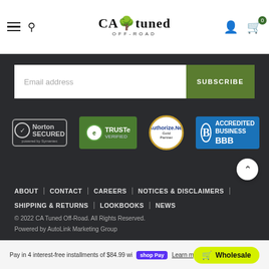CA Tuned Off-Road header navigation with hamburger menu, search, logo, user account, and cart (0)
Email address
SUBSCRIBE
[Figure (logo): Norton SECURED powered by Symantec badge]
[Figure (logo): TRUSTe VERIFIED badge]
[Figure (logo): Authorize.Net badge]
[Figure (logo): BBB Accredited Business badge]
ABOUT
CONTACT
CAREERS
NOTICES & DISCLAIMERS
SHIPPING & RETURNS
LOOKBOOKS
NEWS
© 2022 CA Tuned Off-Road. All Rights Reserved.
Powered by AutoLink Marketing Group
Pay in 4 interest-free installments of $84.99 wi... shop Pay Learn more
Wholesale